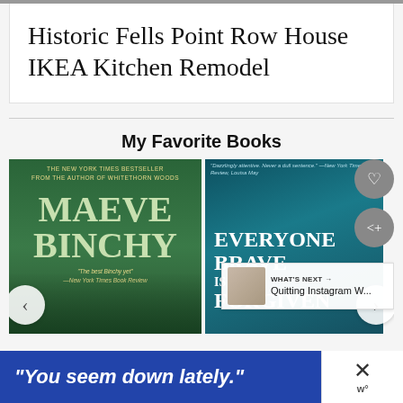Historic Fells Point Row House IKEA Kitchen Remodel
My Favorite Books
[Figure (photo): Book cover: Maeve Binchy (green cover, New York Times Bestseller)]
[Figure (photo): Book cover: Everyone Brave Is Forgiven (teal/blue cover)]
[Figure (other): Ad banner: 'You seem down lately.' in blue]
WHAT'S NEXT → Quitting Instagram W...